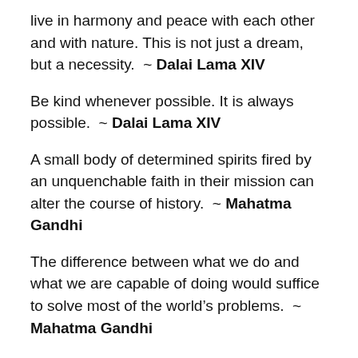live in harmony and peace with each other and with nature. This is not just a dream, but a necessity.  ~ Dalai Lama XIV
Be kind whenever possible. It is always possible.  ~ Dalai Lama XIV
A small body of determined spirits fired by an unquenchable faith in their mission can alter the course of history.  ~ Mahatma Gandhi
The difference between what we do and what we are capable of doing would suffice to solve most of the world's problems.  ~ Mahatma Gandhi
I learned that courage was not the absence of fear, but the triumph over it. The brave man is not he who does not feel afraid, but he who conquers that fear.  ~Nelson Mandela